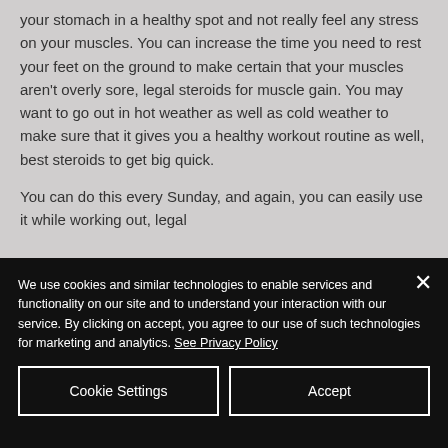your stomach in a healthy spot and not really feel any stress on your muscles. You can increase the time you need to rest your feet on the ground to make certain that your muscles aren't overly sore, legal steroids for muscle gain. You may want to go out in hot weather as well as cold weather to make sure that it gives you a healthy workout routine as well, best steroids to get big quick.
You can do this every Sunday, and again, you can easily use it while working out, legal
We use cookies and similar technologies to enable services and functionality on our site and to understand your interaction with our service. By clicking on accept, you agree to our use of such technologies for marketing and analytics. See Privacy Policy